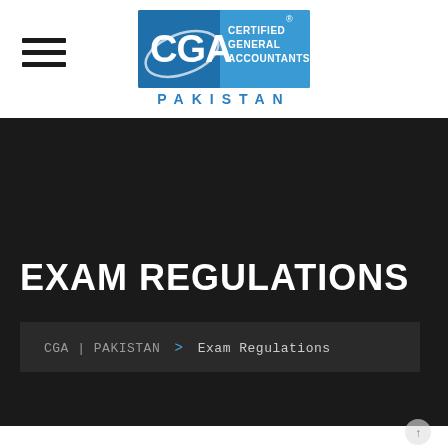[Figure (logo): CGA Pakistan logo — blue square logo with CGA letters and 'CERTIFIED GENERAL ACCOUNTANTS PAKISTAN' text]
EXAM REGULATIONS
CGA | PAKISTAN > Exam Regulations